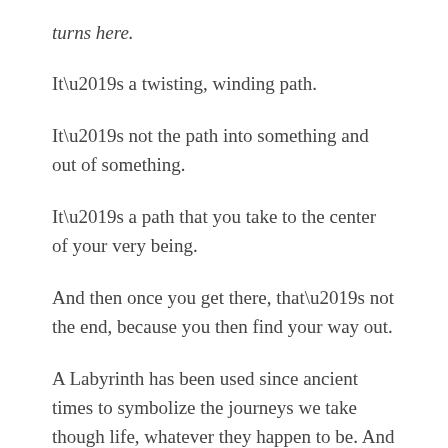turns here.
It’s a twisting, winding path.
It’s not the path into something and out of something.
It’s a path that you take to the center of your very being.
And then once you get there, that’s not the end, because you then find your way out.
A Labyrinth has been used since ancient times to symbolize the journeys we take though life, whatever they happen to be. And so, when you enter a Labyrinth, it can at times be very